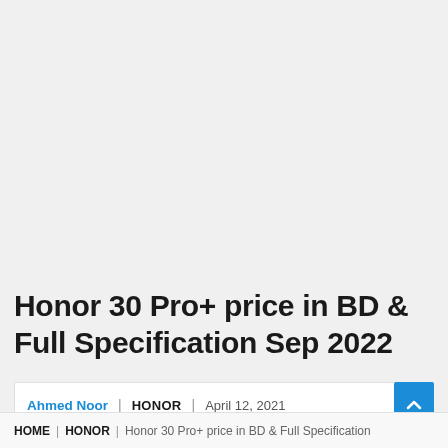Honor 30 Pro+ price in BD & Full Specification Sep 2022
Ahmed Noor | HONOR | April 12, 2021
HOME | HONOR | Honor 30 Pro+ price in BD & Full Specification